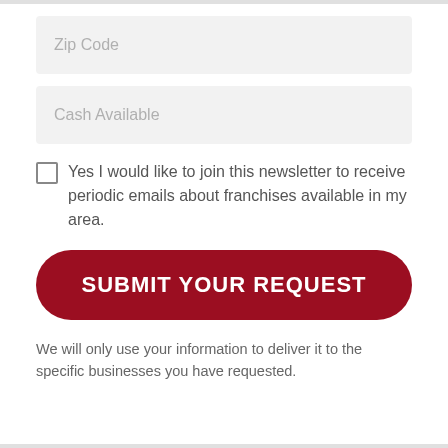Zip Code
Cash Available
Yes I would like to join this newsletter to receive periodic emails about franchises available in my area.
SUBMIT YOUR REQUEST
We will only use your information to deliver it to the specific businesses you have requested.